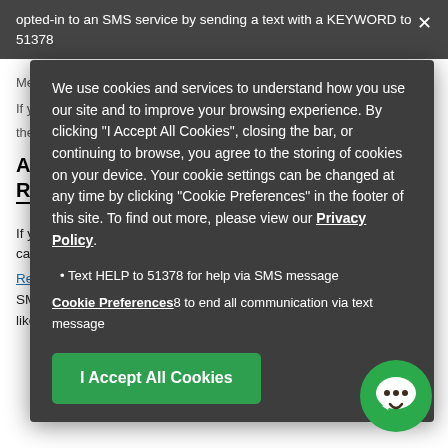opted-in to an SMS service by sending a text with a KEYWORD to 51378
Message and data rates may apply.
If you would like to stop receiving messages from the sender, reply STOP to end all communication of the following:
We use cookies and services to understand how you use our site and to improve your browsing experience. By clicking "I Accept All Cookies", closing the bar, or continuing to browse, you agree to the storing of cookies on your device. Your cookie settings can be changed at any time by clicking "Cookie Preferences" in the footer of this site. To find out more, please view our Privacy Policy.
Text HELP to 51378 for help via SMS message
Cookie Preferences—Text STOP to 51378 to end all communication via text message
ALL RESIDENTS
RESIDENTS
If you are a resident of the property sending you text messages, you can manage all of your different notifications from your ResidentPortal™. Login to your property and go to the tab. Under the SMS settings block, click "Edit" and update the services you would like to opt-out of. Alternatively, you can choose which services you would like to be notified in the same tab.